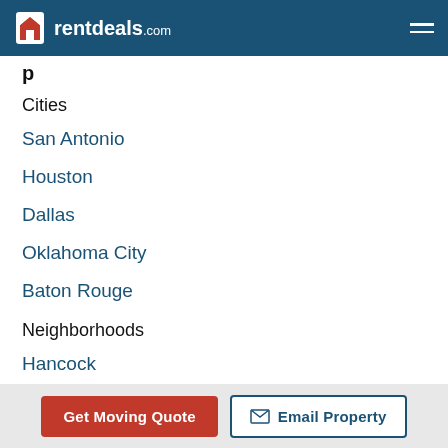rentdeals.com
Cities
San Antonio
Houston
Dallas
Oklahoma City
Baton Rouge
Neighborhoods
Hancock
Parmer Center
Get Moving Quote  Email Property